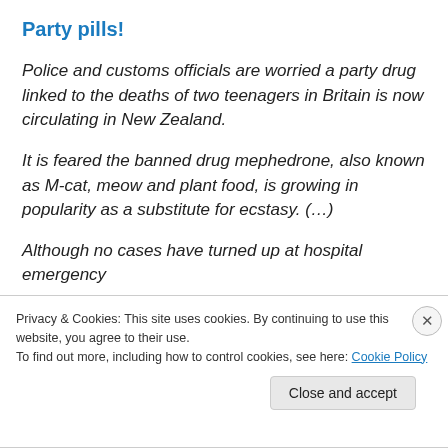Party pills!
Police and customs officials are worried a party drug linked to the deaths of two teenagers in Britain is now circulating in New Zealand.
It is feared the banned drug mephedrone, also known as M-cat, meow and plant food, is growing in popularity as a substitute for ecstasy. (…)
Although no cases have turned up at hospital emergency
Privacy & Cookies: This site uses cookies. By continuing to use this website, you agree to their use.
To find out more, including how to control cookies, see here: Cookie Policy
Close and accept